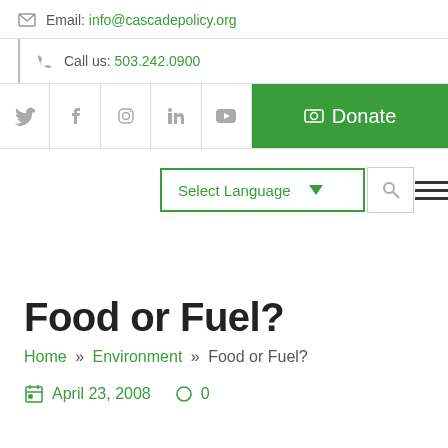Email: info@cascadepolicy.org
Call us: 503.242.0900
Social icons: Twitter, Facebook, Instagram, LinkedIn, YouTube | Donate button
Select Language | Search | Menu
Food or Fuel?
Home » Environment » Food or Fuel?
April 23, 2008   0